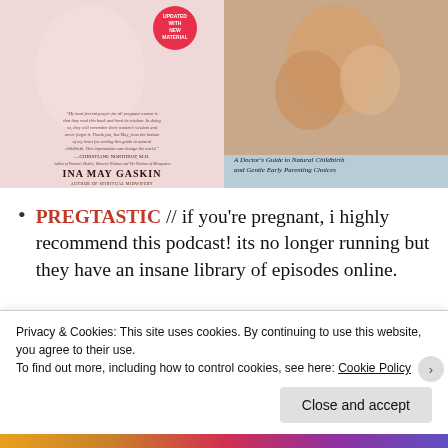[Figure (photo): Two book covers side by side. Left: Ina May Gaskin book on natural childbirth with pink/salmon background and an 'Updated with New Material' badge. Right: A Doctor's Guide to Natural Childbirth and Gentle Early Parenting Choices, showing a mother and baby face-to-face.]
PREGTASTIC // if you're pregnant, i highly recommend this podcast! its no longer running but they have an insane library of episodes online.
Privacy & Cookies: This site uses cookies. By continuing to use this website, you agree to their use.
To find out more, including how to control cookies, see here: Cookie Policy